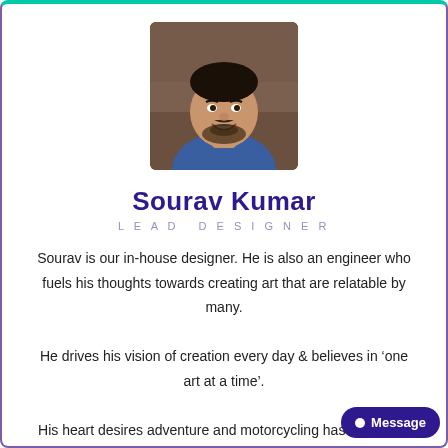[Figure (photo): Profile photo of Sourav Kumar, a young man with dark hair and beard, smiling, wearing a blue shirt, indoor background]
Sourav Kumar
LEAD DESIGNER
Sourav is our in-house designer. He is also an engineer who fuels his thoughts towards creating art that are relatable by many.

He drives his vision of creation every day & believes in ‘one art at a time’.

His heart desires adventure and motorcycling has led him to discover what it means to be free.